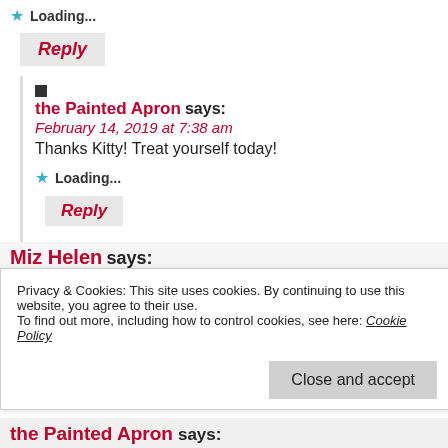Loading...
Reply
the Painted Apron says: February 14, 2019 at 7:38 am
Thanks Kitty! Treat yourself today!
Loading...
Reply
Miz Helen says: February 19, 2019 at 12:38 pm
I love Cannoli’s , I am excited to have this recipe, looks so good! Hope you are having a good week and stay warm! lat
Privacy & Cookies: This site uses cookies. By continuing to use this website, you agree to their use.
To find out more, including how to control cookies, see here: Cookie Policy
Close and accept
the Painted Apron says: